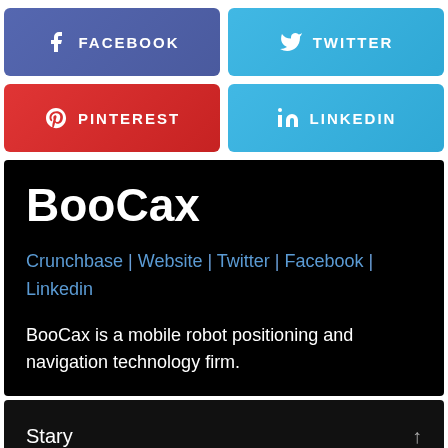[Figure (infographic): Social media share buttons row 1: Facebook (purple-blue) and Twitter (light blue)]
[Figure (infographic): Social media share buttons row 2: Pinterest (red) and LinkedIn (light blue)]
BooCax
Crunchbase | Website | Twitter | Facebook | Linkedin
BooCax is a mobile robot positioning and navigation technology firm.
Stary